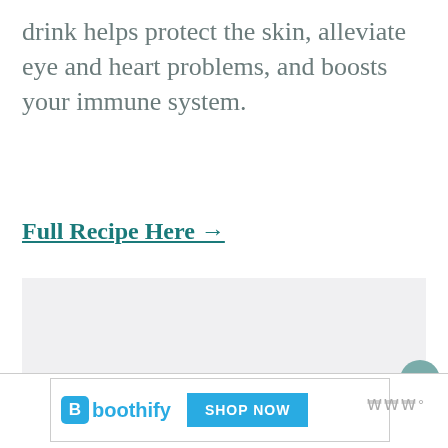drink helps protect the skin, alleviate eye and heart problems, and boosts your immune system.
Full Recipe Here →
[Figure (photo): Large light gray placeholder image area]
[Figure (other): Boothify advertisement banner with SHOP NOW button]